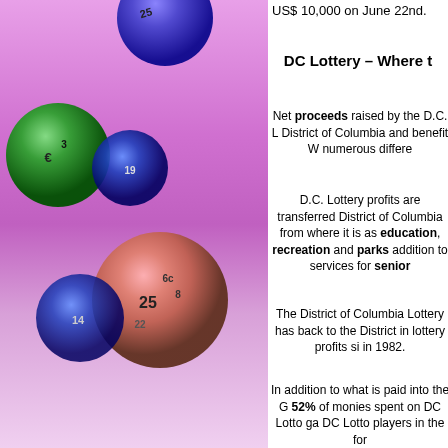US$ 10,000 on June 22nd.
DC Lottery – Where t
Net proceeds raised by the D.C. L District of Columbia and benefit W numerous differe
D.C. Lottery profits are transferred District of Columbia from where it is as education, recreation and parks addition to services for senior
The District of Columbia Lottery has back to the District in lottery profits si in 1982.
In addition to what is paid into the G 52% of monies spent on DC Lotto ga DC Lotto players in the for